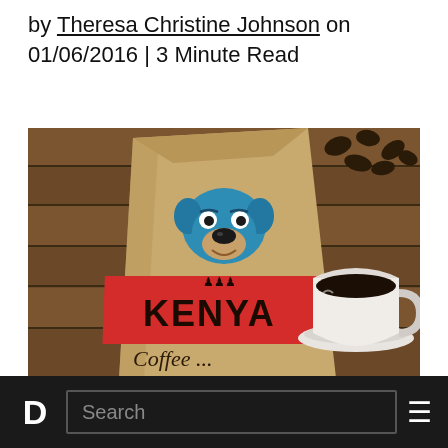by Theresa Christine Johnson on 01/06/2016 | 3 Minute Read
[Figure (photo): A brown kraft paper coffee bag labeled 'KENYA Coffee' with a blue bulldog mascot logo and a red stripe, next to a white cup of black coffee on a wooden surface with coffee beans scattered in the background.]
Meet Argus, the adorable furry mascot for Coffee Lab. This cute little pooch will work his
D  Search  ≡